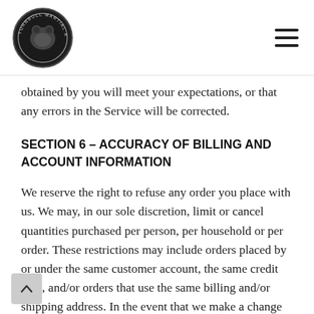[Logo: Turnbull Martial Arts Academy] [Hamburger menu icon]
obtained by you will meet your expectations, or that any errors in the Service will be corrected.
SECTION 6 – ACCURACY OF BILLING AND ACCOUNT INFORMATION
We reserve the right to refuse any order you place with us. We may, in our sole discretion, limit or cancel quantities purchased per person, per household or per order. These restrictions may include orders placed by or under the same customer account, the same credit card, and/or orders that use the same billing and/or shipping address. In the event that we make a change to or cancel an order, we may attempt to notify you by contacting the e-mail and/or billing address/phone number provided at the time the order was made. We reserve the right to limit or prohibit orders that, in our sole judgment,